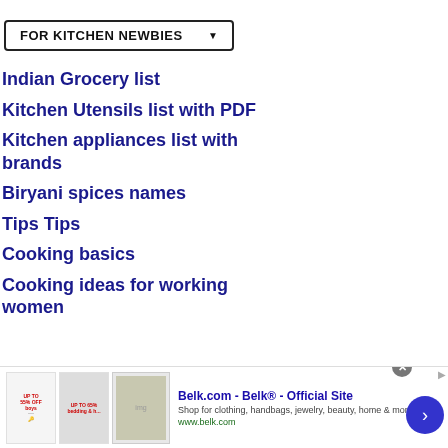FOR KITCHEN NEWBIES
Indian Grocery list
Kitchen Utensils list with PDF
Kitchen appliances list with brands
Biryani spices names
Tips Tips
Cooking basics
Cooking ideas for working women
[Figure (screenshot): Advertisement banner for Belk.com - Belk Official Site. Shows clothing/home goods images, tagline: Shop for clothing, handbags, jewelry, beauty, home & more!, URL: www.belk.com]